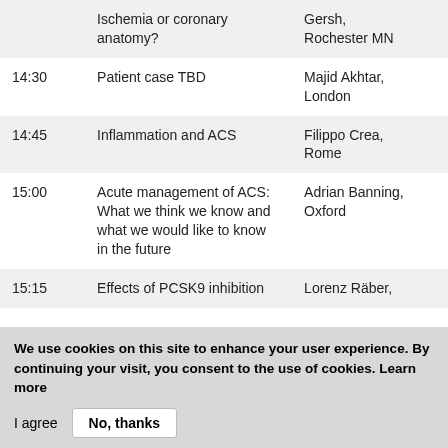| Time | Topic | Speaker |
| --- | --- | --- |
|  | Ischemia or coronary anatomy? | Gersh, Rochester MN |
| 14:30 | Patient case TBD | Majid Akhtar, London |
| 14:45 | Inflammation and ACS | Filippo Crea, Rome |
| 15:00 | Acute management of ACS: What we think we know and what we would like to know in the future | Adrian Banning, Oxford |
| 15:15 | Effects of PCSK9 inhibition | Lorenz Räber, |
We use cookies on this site to enhance your user experience. By continuing your visit, you consent to the use of cookies. Learn more